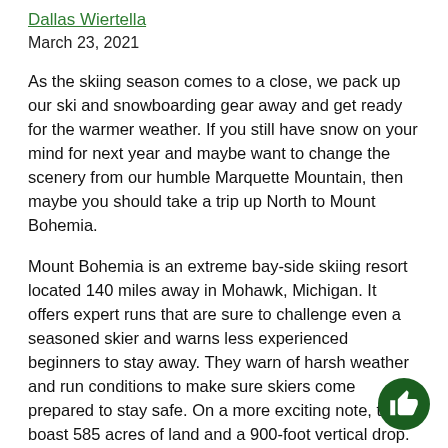Dallas Wiertella
March 23, 2021
As the skiing season comes to a close, we pack up our ski and snowboarding gear away and get ready for the warmer weather. If you still have snow on your mind for next year and maybe want to change the scenery from our humble Marquette Mountain, then maybe you should take a trip up North to Mount Bohemia.
Mount Bohemia is an extreme bay-side skiing resort located 140 miles away in Mohawk, Michigan. It offers expert runs that are sure to challenge even a seasoned skier and warns less experienced beginners to stay away. They warn of harsh weather and run conditions to make sure skiers come prepared to stay safe. On a more exciting note, they boast 585 acres of land and a 900-foot vertical drop.